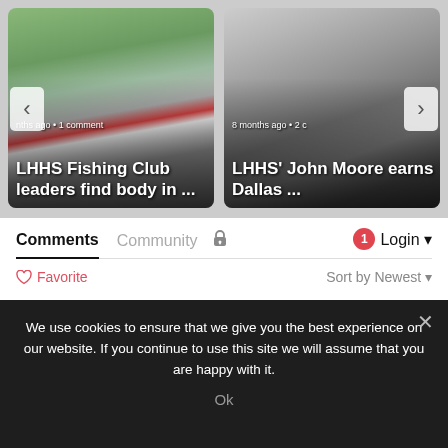[Figure (screenshot): News carousel card 1: outdoor scene with emergency vehicles, title 'LHHS Fishing Club leaders find body in ...' with meta 'nths ago • 1 comment']
[Figure (screenshot): News carousel card 2: two men posing for photo, title 'LHHS' John Moore earns Dallas ...' with meta '8 months ago • 2 c']
Comments
Community
1
Login
Favorite
Sort by Newest
We use cookies to ensure that we give you the best experience on our website. If you continue to use this site we will assume that you are happy with it.
Ok